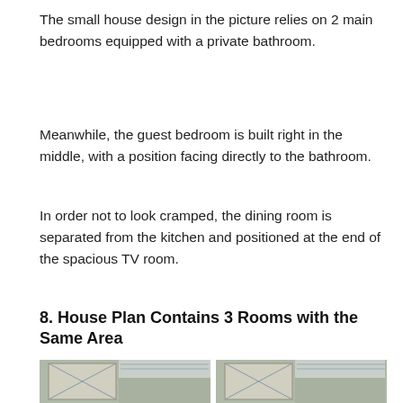The small house design in the picture relies on 2 main bedrooms equipped with a private bathroom.
Meanwhile, the guest bedroom is built right in the middle, with a position facing directly to the bathroom.
In order not to look cramped, the dining room is separated from the kitchen and positioned at the end of the spacious TV room.
8. House Plan Contains 3 Rooms with the Same Area
[Figure (photo): Partial view of a house interior/exterior showing windows with geometric frames and ceiling details, appears to be two side-by-side photos.]